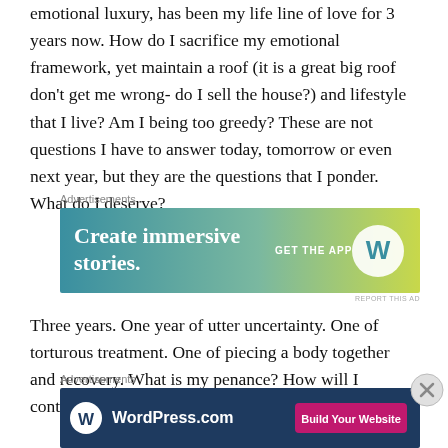emotional luxury, has been my life line of love for 3 years now. How do I sacrifice my emotional framework, yet maintain a roof (it is a great big roof don't get me wrong- do I sell the house?) and lifestyle that I live? Am I being too greedy? These are not questions I have to answer today, tomorrow or even next year, but they are the questions that I ponder. What do I deserve?
[Figure (infographic): WordPress advertisement banner with gradient background from teal to yellow-green. Text reads 'Create immersive stories.' with 'GET THE APP' and WordPress logo on the right.]
Three years. One year of utter uncertainty. One of torturous treatment. One of piecing a body together and recovery. What is my penance? How will I continue to pay
[Figure (infographic): WordPress.com advertisement banner with dark navy blue background. WordPress logo and 'WordPress.com' text on the left, 'Build Your Website' pink button on the right.]